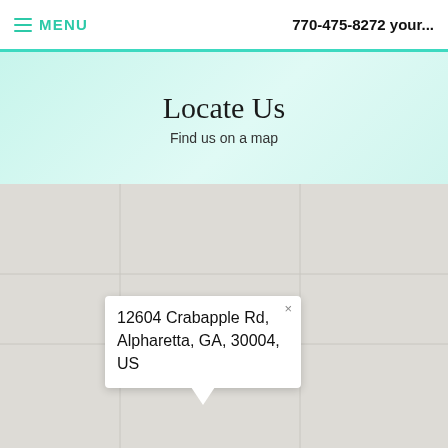≡ MENU   770-475-8272 your...
Locate Us
Find us on a map
[Figure (map): Google Maps-style map showing location at 12604 Crabapple Rd, Alpharetta, GA, 30004, US with a popup info window displaying the address and a close button (×).]